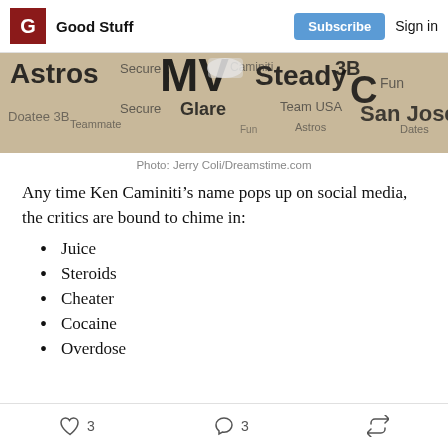Good Stuff  Subscribe  Sign in
[Figure (photo): Newspaper clippings collage showing words like Astros, MVP, Steady, Secure, Glare, Team USA, San Jose, Fun, Doatee, 3B]
Photo: Jerry Coli/Dreamstime.com
Any time Ken Caminiti’s name pops up on social media, the critics are bound to chime in:
Juice
Steroids
Cheater
Cocaine
Overdose
3  3